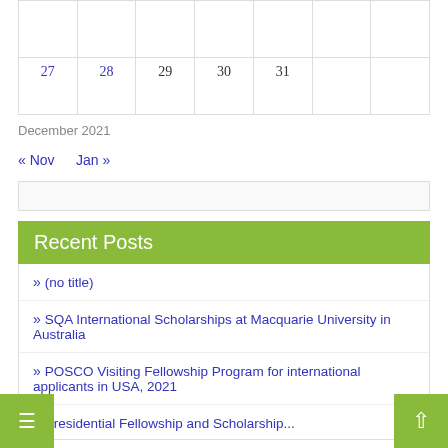| 27 | 28 | 29 | 30 | 31 |  |  |
December 2021
« Nov   Jan »
Recent Posts
(no title)
SQA International Scholarships at Macquarie University in Australia
POSCO Visiting Fellowship Program for international applicants in USA, 2021
Presidential Fellowship and Scholarship...